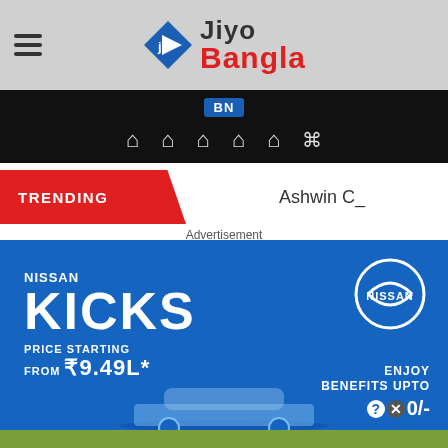[Figure (logo): Jiyo Bangla logo with hamburger menu on left, triangular JB icon and brand name in center on grey header bar]
[Figure (screenshot): Black navigation bar with BN badge and icon menu items]
TRENDING
Ashwin C_
Advertisement
[Figure (photo): Nissan Kicks advertisement banner on blue background. Text: NISSAN KICKS, PRICE STARTING FROM ₹9.49L*, ENJOY BENEFITS UPTO, with Nissan logo circle top right. Wolf game advertisement banner overlaid at bottom with wolves and THE HUNT IS ON text.]